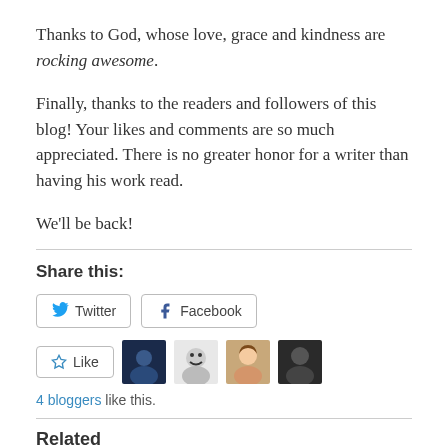Thanks to God, whose love, grace and kindness are rocking awesome.
Finally, thanks to the readers and followers of this blog! Your likes and comments are so much appreciated. There is no greater honor for a writer than having his work read.
We'll be back!
Share this:
[Figure (screenshot): Twitter and Facebook share buttons]
[Figure (screenshot): Like button with 4 blogger avatars and '4 bloggers like this.' text]
Related